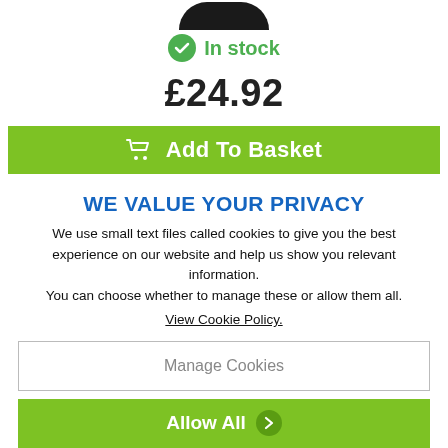[Figure (photo): Partial view of a dark/black product (likely a car part or similar) shown at the top of the page, cropped]
In stock
£24.92
Add To Basket
WE VALUE YOUR PRIVACY
We use small text files called cookies to give you the best experience on our website and help us show you relevant information. You can choose whether to manage these or allow them all.
View Cookie Policy.
Manage Cookies
Allow All